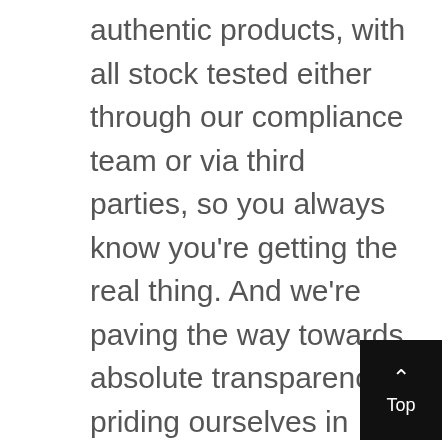authentic products, with all stock tested either through our compliance team or via third parties, so you always know you're getting the real thing. And we're paving the way towards absolute transparency, priding ourselves in sustaining honesty and transparency within our product selection processes.

There's a huge range of goods on offer, from tech to fashion, and it just keeps getting bigger. It doesn't matter if you're just starting out or already have a few unboxings under your belt – Hybe has a box for everyone, packed with the hottest